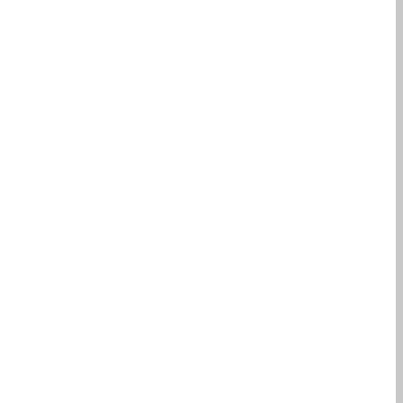Now, after calling
ucc-image -c thinclient-image-1
we will get the initial image, somewhere. The precise path will be shown at the end of the -t switch.
Manual installation of extra
The idea is to first free some space used by packages.
That is to delete the cache of packages.
First let us mount the image in /mnt/img.
mkdir /mnt/img
mount -o loop /tmp/tmprUgkUj/uc
and free some space:
chroot /mnt/img/
apt-get clean
should free var/cache/apt/archives/ and
rm /var/lib/apt/lists/*